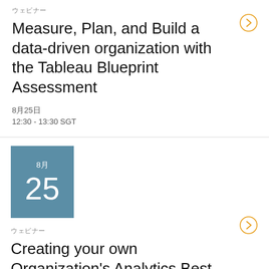ウェビナー
Measure, Plan, and Build a data-driven organization with the Tableau Blueprint Assessment
8月25日
12:30 - 13:30 SGT
[Figure (illustration): Calendar tile showing '8月' and '25' on a teal/steel-blue background]
ウェビナー
Creating your own Organization's Analytics Best Practices
8月25日
12:30 - 13:30 SGT